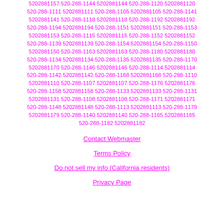520-288-1157 520-288-1144 5202881144 520-288-1120 5202881120 520-288-1111 5202881111 520-288-1105 5202881105 520-288-1141 5202881141 520-288-1118 5202881118 520-288-1192 5202881192 520-288-1194 5202881194 520-288-1151 5202881151 520-288-1153 5202881153 520-288-1115 5202881115 520-288-1152 5202881152 520-288-1139 5202881139 520-288-1154 5202881154 520-288-1150 5202881150 520-288-1163 5202881163 520-288-1180 5202881180 520-288-1134 5202881134 520-288-1135 5202881135 520-288-1170 5202881170 520-288-1146 5202881146 520-288-1114 5202881114 520-288-1142 5202881142 520-288-1168 5202881168 520-288-1110 5202881110 520-288-1107 5202881107 520-288-1176 5202881176 520-288-1158 5202881158 520-288-1133 5202881133 520-288-1131 5202881131 520-288-1108 5202881108 520-288-1171 5202881171 520-288-1148 5202881148 520-288-1113 5202881113 520-288-1179 5202881179 520-288-1140 5202881140 520-288-1165 5202881165 520-288-1182 5202881182
Contact Webmaster
Terms Policy
Do not sell my info (California residents)
Privacy Page